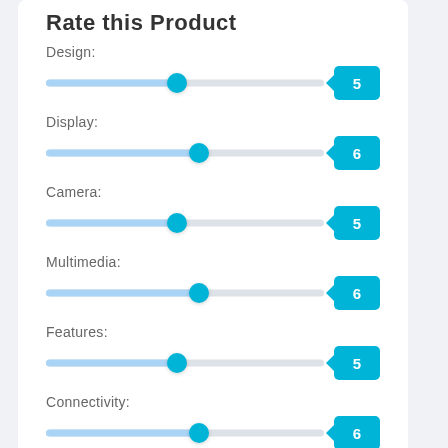Rate this Product
[Figure (infographic): A mobile app UI showing a 'Rate this Product' form with slider controls for Design (5), Display (6), Camera (5), Multimedia (6), Features (5), Connectivity (6), and Call Quality (partially visible).]